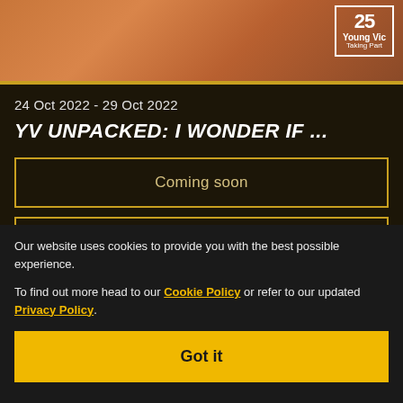[Figure (photo): Orange/amber gradient image background (blurred photo) at top of page with Young Vic Taking Part logo box in top right corner]
24 Oct 2022 - 29 Oct 2022
YV UNPACKED: I WONDER IF ...
Coming soon
More info
Our website uses cookies to provide you with the best possible experience.
To find out more head to our Cookie Policy or refer to our updated Privacy Policy.
Got it